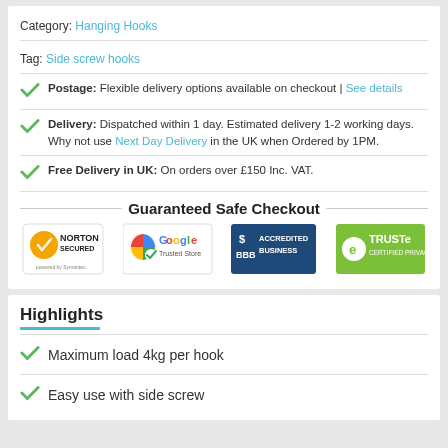Category: Hanging Hooks
Tag: Side screw hooks
Postage: Flexible delivery options available on checkout | See details
Delivery: Dispatched within 1 day. Estimated delivery 1-2 working days. Why not use Next Day Delivery in the UK when Ordered by 1PM.
Free Delivery in UK: On orders over £150 Inc. VAT.
Guaranteed Safe Checkout
[Figure (logo): Norton Secured, Google Trusted Store, BBB Accredited Business, TRUSTe Certified Privacy badges]
Highlights
Maximum load 4kg per hook
Easy use with side screw